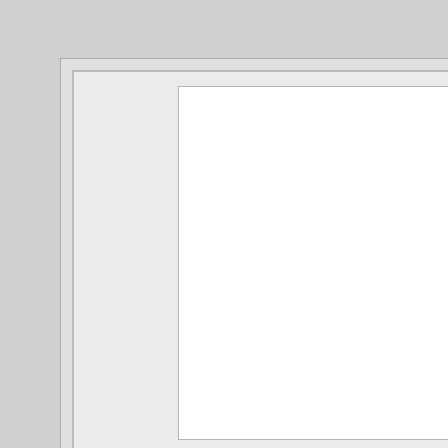Название/Part N
RC0402
Описание/Descri
Thick Film Chip
Производитель/M
TAITRON Comp
Ссылка на datas
~/RC04
RC0402.PDF (538 Kb)